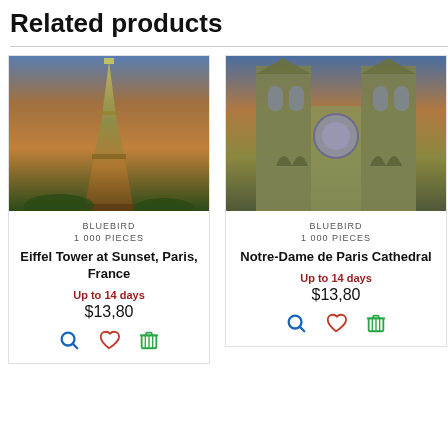Related products
[Figure (photo): Eiffel Tower at Sunset illustration - colorful artistic rendering with orange and blue sky]
BLUEBIRD
1 000 PIECES
Eiffel Tower at Sunset, Paris, France
Up to 14 days
$13,80
[Figure (photo): Notre-Dame de Paris Cathedral illustration - colorful artistic rendering with dramatic sky]
BLUEBIRD
1 000 PIECES
Notre-Dame de Paris Cathedral
Up to 14 days
$13,80